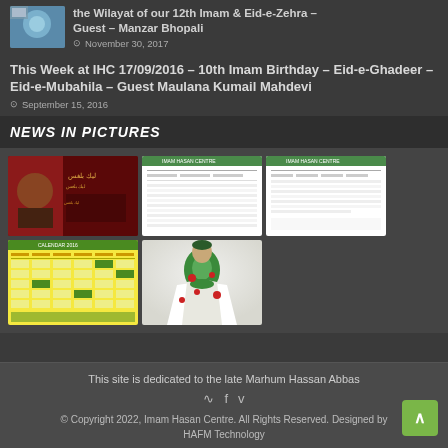the Wilayat of our 12th Imam & Eid-e-Zehra – Guest – Manzar Bhopali
November 30, 2017
This Week at IHC 17/09/2016 – 10th Imam Birthday – Eid-e-Ghadeer – Eid-e-Mubahila – Guest Maulana Kumail Mahdevi
September 15, 2016
NEWS IN PICTURES
[Figure (screenshot): Dark red themed banner with Arabic text and a person's image]
[Figure (screenshot): White document with table/schedule content and green header]
[Figure (screenshot): White document with table/schedule content and green header, wider layout]
[Figure (screenshot): Yellow and green calendar grid]
[Figure (photo): Person in green and white robe with red flower petals]
This site is dedicated to the late Marhum Hassan Abbas
© Copyright 2022, Imam Hasan Centre. All Rights Reserved. Designed by HAFM Technology